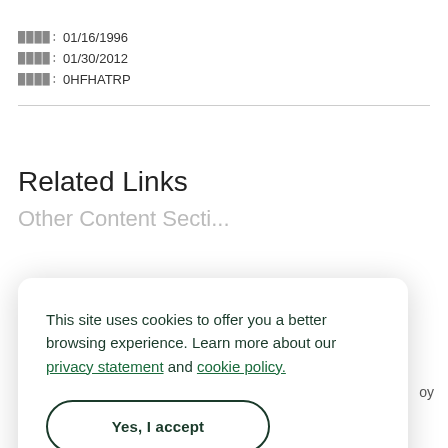████: 01/16/1996
████: 01/30/2012
████: 0HFHATRP
Related Links
Other Content Section...
This site uses cookies to offer you a better browsing experience. Learn more about our privacy statement and cookie policy.
Yes, I accept